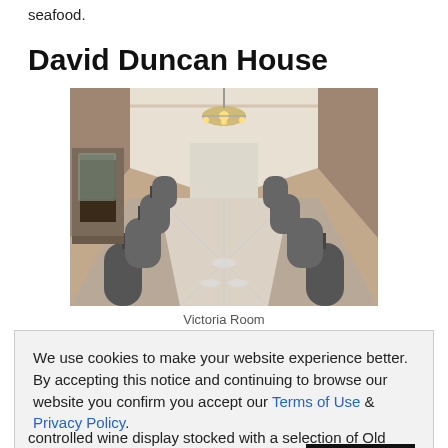seafood.
David Duncan House
[Figure (photo): Interior photo of an elegant private dining room with a long table set with plates, chandelier lighting, fireplace on the left, and warm beige walls with ornate crown molding.]
Victoria Room
We use cookies to make your website experience better. By accepting this notice and continuing to browse our website you confirm you accept our Terms of Use & Privacy Policy.

read more >>    I Agree
controlled wine display stocked with a selection of Old